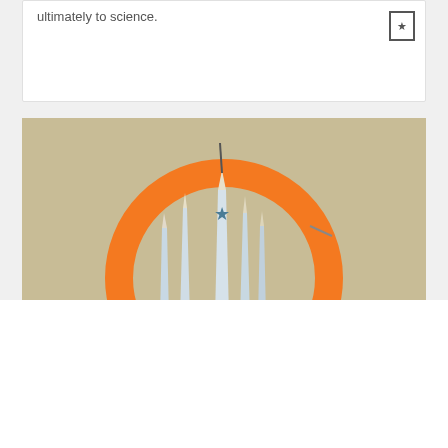ultimately to science.
[Figure (illustration): Illustration showing pencils arranged inside an orange circle logo against a tan/khaki background, with mountain-like shapes and a star symbol on the tallest pencil in the center.]
We use cookies that are necessary to make our site work. We may also use additional cookies to analyze, improve, and personalize our content and your digital experience. For more information, see our Cookie Policy
Cookie settings
Accept all cookies